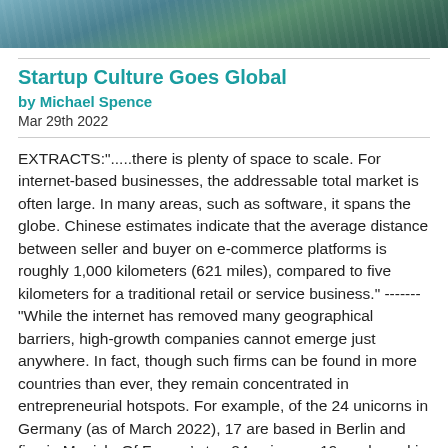[Figure (photo): Partial photo at top of page showing people, cropped]
Startup Culture Goes Global
by Michael Spence
Mar 29th 2022
EXTRACTS:".....there is plenty of space to scale. For internet-based businesses, the addressable total market is often large. In many areas, such as software, it spans the globe. Chinese estimates indicate that the average distance between seller and buyer on e-commerce platforms is roughly 1,000 kilometers (621 miles), compared to five kilometers for a traditional retail or service business." ------- "While the internet has removed many geographical barriers, high-growth companies cannot emerge just anywhere. In fact, though such firms can be found in more countries than ever, they remain concentrated in entrepreneurial hotspots. For example, of the 24 unicorns in Germany (as of March 2022), 17 are based in Berlin and five in Munich. Of France's top 24 unicorns, 19 are based in Paris and one in a Paris suburb." ------ "Tech